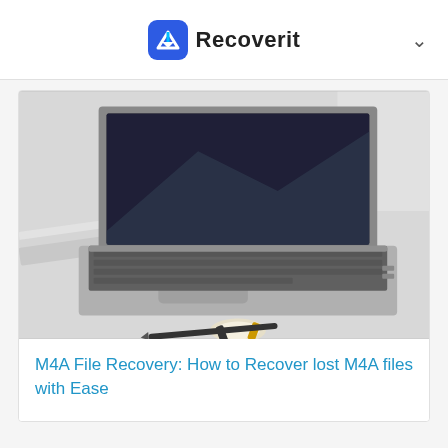Recoverit
[Figure (photo): Open laptop on a white desk with a watch, pen and papers nearby. Photo is light and bright with muted tones.]
M4A File Recovery: How to Recover lost M4A files with Ease